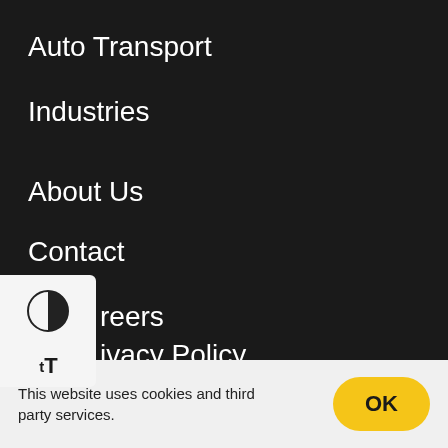Auto Transport
Industries
About Us
Contact
Careers
Privacy Policy
Blog
[Figure (screenshot): Accessibility widget panel with contrast toggle icon and text size (tT) icon on a white background panel on the left side of the screen]
This website uses cookies and third party services.
OK